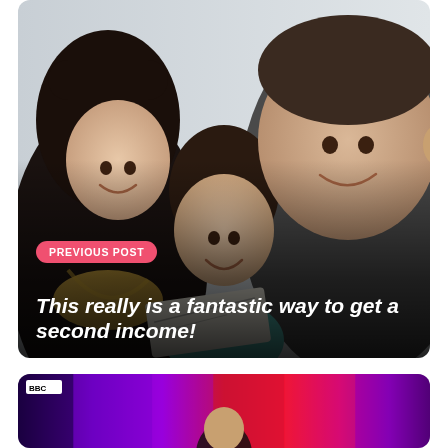[Figure (photo): Family photo of a woman with yellow scarf, a young girl holding a cheque, and a man in grey top, all smiling. Overlaid with 'PREVIOUS POST' pink badge and white bold italic title text.]
PREVIOUS POST
This really is a fantastic way to get a second income!
[Figure (screenshot): Partial screenshot of a BBC TV show with colourful purple, red and pink background panels. BBC logo visible top left. Bottom portion of a person's head visible at bottom centre.]